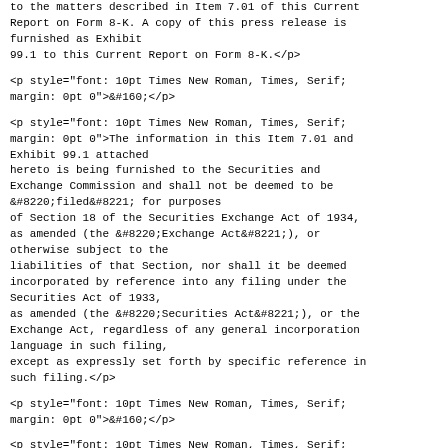to the matters described in Item 7.01 of this Current Report on Form 8-K. A copy of this press release is furnished as Exhibit
99.1 to this Current Report on Form 8-K.</p>
<p style="font: 10pt Times New Roman, Times, Serif; margin: 0pt 0">&#160;</p>
<p style="font: 10pt Times New Roman, Times, Serif; margin: 0pt 0">The information in this Item 7.01 and Exhibit 99.1 attached
hereto is being furnished to the Securities and Exchange Commission and shall not be deemed to be
&#8220;filed&#8221; for purposes
of Section 18 of the Securities Exchange Act of 1934, as amended (the &#8220;Exchange Act&#8221;), or otherwise subject to the
liabilities of that Section, nor shall it be deemed incorporated by reference into any filing under the Securities Act of 1933,
as amended (the &#8220;Securities Act&#8221;), or the Exchange Act, regardless of any general incorporation language in such filing,
except as expressly set forth by specific reference in such filing.</p>
<p style="font: 10pt Times New Roman, Times, Serif; margin: 0pt 0">&#160;</p>
<p style="font: 10pt Times New Roman, Times, Serif; margin: 0pt 0">This Current Report on Form 8-K, and